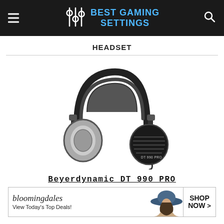BEST GAMING SETTINGS
HEADSET
[Figure (photo): Beyerdynamic DT 990 PRO over-ear headphones in black with grey ear pads, shown at an angle with cable visible]
Beyerdynamic DT 990 PRO
[Figure (photo): Bloomingdale's advertisement banner: 'bloomingdales - View Today's Top Deals!' with an image of a woman in a hat and a SHOP NOW button]